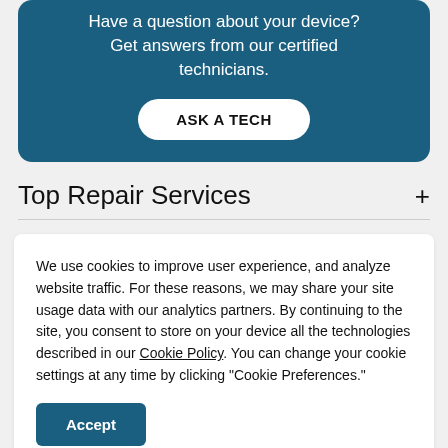Have a question about your device? Get answers from our certified technicians.
ASK A TECH
Top Repair Services
We use cookies to improve user experience, and analyze website traffic. For these reasons, we may share your site usage data with our analytics partners. By continuing to the site, you consent to store on your device all the technologies described in our Cookie Policy. You can change your cookie settings at any time by clicking “Cookie Preferences.”
Accept